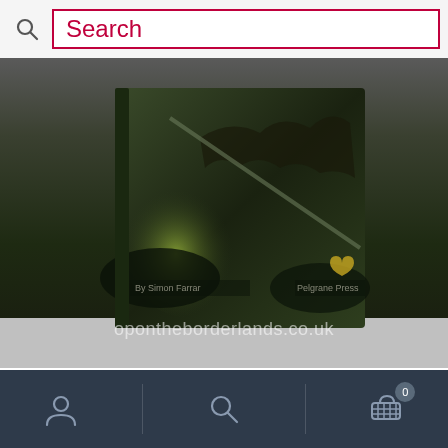[Figure (screenshot): Search bar with magnifying glass icon on left and red-bordered search input box containing the word 'Search' in red text]
[Figure (photo): Photo of a book titled Keeper's Resource Book & Screen for Trail of Cthulhu, dark fantasy cover showing creatures in a cave with green glowing light, watermark text 'opontheborderlands.co.uk']
Keeper's Resource Book & Screen, softback supplement and screen for Trail of Cthulhu
£18.99
[Figure (screenshot): Bottom navigation bar with dark blue background showing person/account icon, search icon, and shopping cart icon with badge showing 0]